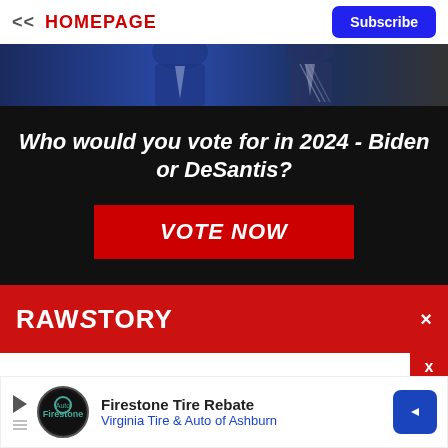<< HOMEPAGE | Subscribe
[Figure (photo): Photo strip showing people in suits and ties, partial view, blue tones]
Who would you vote for in 2024 - Biden or DeSantis?
VOTE NOW
[Figure (logo): RAW STORY logo on red background with X close button]
[Figure (infographic): Ad bar: Firestone Tire Rebate - Virginia Tire & Auto of Ashburn with play button, circular logo, and blue diamond arrow icon]